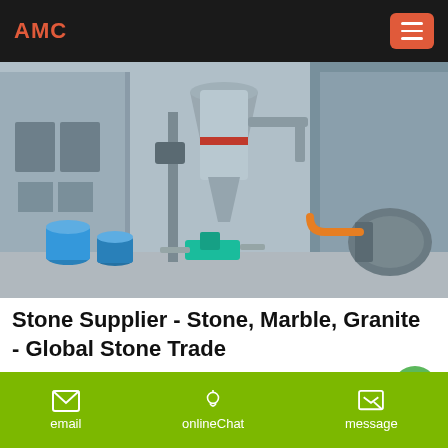AMC
[Figure (photo): Industrial machinery in an outdoor/semi-indoor factory setting with a large conical hopper/cyclone separator in the center, pipes, motors, and blue barrels visible]
Stone Supplier - Stone, Marble, Granite - Global Stone Trade
100893 Stone Supplier, Exporter, Importer, Factory, Wholesaler, Contractor, Quarry Owner from 214 countries: United States,China,India,United Kingdom,Turkey, Iran etc ...
email   onlineChat   message